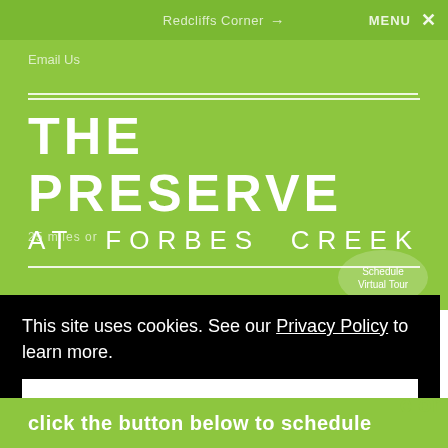Redcliffs Corner → MENU ×
Email Us
THE PRESERVE AT FORBES CREEK
25 miles or
Schedule Virtual Tour
This site uses cookies. See our Privacy Policy to learn more.
Okay, Got it
e or
click the button below to schedule